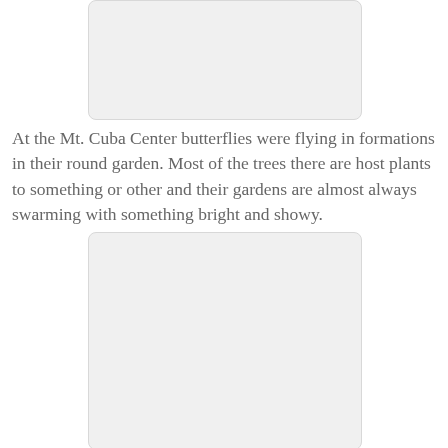[Figure (photo): Photo placeholder at top, white/light gray rectangle with rounded corners]
At the Mt. Cuba Center butterflies were flying in formations in their round garden. Most of the trees there are host plants to something or other and their gardens are almost always swarming with something bright and showy.
[Figure (photo): Photo placeholder at bottom, white/light gray rectangle with rounded corners]